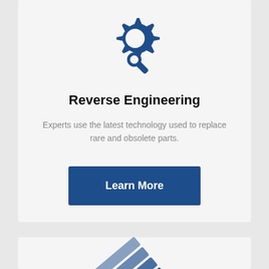[Figure (illustration): Blue gear/cog icon with a wrench/spanner overlaid, representing reverse engineering or mechanical services.]
Reverse Engineering
Experts use the latest technology used to replace rare and obsolete parts.
Learn More
[Figure (illustration): Blue stacked cards or layers icon, partially visible at the bottom of the page.]